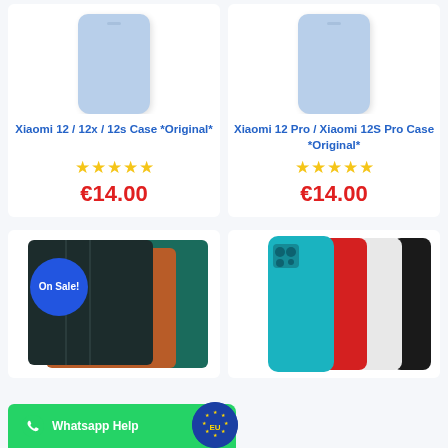[Figure (photo): Light blue Xiaomi phone case (top portion visible)]
[Figure (photo): Light blue Xiaomi phone case (top portion visible)]
Xiaomi 12 / 12x / 12s Case *Original*
Xiaomi 12 Pro / Xiaomi 12S Pro Case *Original*
★★★★★
★★★★★
€14.00
€14.00
[Figure (photo): Tablet cases in teal, dark green, orange/brown colors with On Sale! badge]
[Figure (photo): Xiaomi phone backs in teal, red, white, black colors]
On Sale!
Whatsapp Help
[Figure (logo): EU logo badge in blue circle with gold stars and EU text]